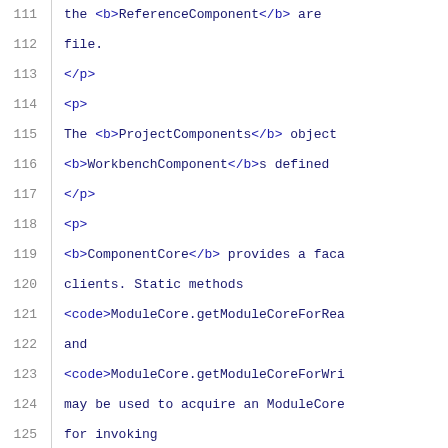Code listing lines 111-132 showing XML/HTML documentation source with line numbers
111: the <b>ReferenceComponent</b> are ...
112:     file.
113:     </p>
114:     <p>
115:         The <b>ProjectComponents</b> object
116:         <b>WorkbenchComponent</b>s defined ...
117:     </p>
118:     <p>
119:         <b>ComponentCore</b> provides a faca
120:         clients. Static methods
121:         <code>ModuleCore.getModuleCoreForRea
122:         and
123:         <code>ModuleCore.getModuleCoreForWr...
124:         may be used to acquire an ModuleCore
125:         for invoking
126:         <code>dispose()</code>
127:         whenever they are finished using the
128:     </p>
129:             <a href="#top">top</a>
130:             <a name="constraints"/>
131:     <h2>Constraints enforced by the CCM</h2...
132:     <p>